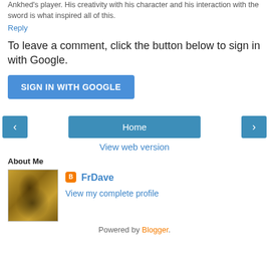Ankhed's player. His creativity with his character and his interaction with the sword is what inspired all of this.
Reply
To leave a comment, click the button below to sign in with Google.
SIGN IN WITH GOOGLE
[Figure (other): Navigation bar with left arrow button, Home button, and right arrow button]
View web version
About Me
[Figure (photo): Profile photo showing a Byzantine mosaic-style religious icon image]
FrDave
View my complete profile
Powered by Blogger.